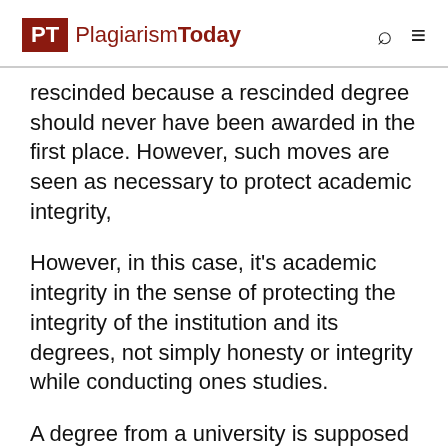PT PlagiarismToday
rescinded because a rescinded degree should never have been awarded in the first place. However, such moves are seen as necessary to protect academic integrity,
However, in this case, it's academic integrity in the sense of protecting the integrity of the institution and its degrees, not simply honesty or integrity while conducting ones studies.
A degree from a university is supposed to indicate to those outside it that the person had completed some level of work and achieved